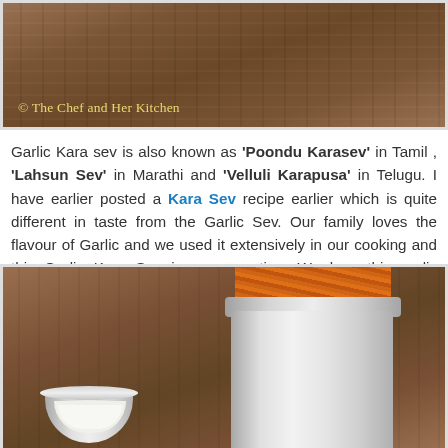[Figure (photo): Top portion of a food blog photo showing a wooden table background with the watermark '© The Chef and Her Kitchen' in yellow text at the bottom left]
Garlic Kara sev is also known as 'Poondu Karasev' in Tamil, 'Lahsun Sev' in Marathi and 'Velluli Karapusa' in Telugu. I have earlier posted a Kara Sev recipe earlier which is quite different in taste from the Garlic Sev. Our family loves the flavour of Garlic and we used it extensively in our cooking and this Garlic Kara Sev is no exception. We love this garlic flavoured spicy sev very much and always carry back few packs of it during our trips to Bangalore.
[Figure (photo): Photo showing a steel cylinder container filled with orange garlic kara sev (fried snack sticks) on a wooden table background, with a small steel bowl partially visible at the bottom left]